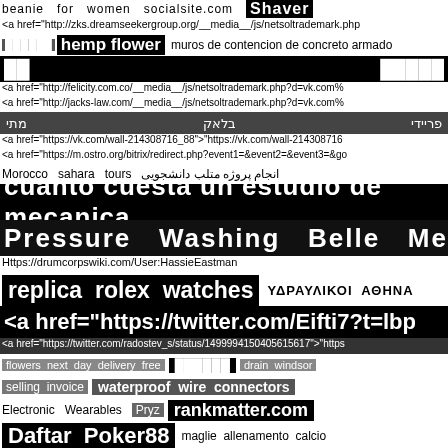beanie   for   women   socialsite.com   Shaver
<a href="http://zks.dreamseekergroup.org/__media__/js/netsoltrademark.php
██████ hemp flower   muros de contencion de concreto armado
██   █████
<a href="http://felicity.com.co/__media__/js/netsoltrademark.php?d=vk.com%
<a href="http://jacks-law.com/__media__/js/netsoltrademark.php?d=vk.com%
פריידי   בלאק   מתי
<a href="https://vk.com/wall-214308716_88">"https://vk.com/wall-214308716
<a href="https://m.ostro.org/bitrix/redirect.php?event1=&event2=&event3=&go
Morocco   sahara   tours   انجام پروژه متلب دانشجویی
cuanto cuesta un estudio de mecanica
Pressure   Washing   Belle   Meade
Https://drumcorpswiki.com/User:HassieEastman
replica   rolex   watches   ΥΔΡΑΥΛΙΚΟΙ  ΑΘΗΝΑ
<a href="https://twitter.com/Eifti7?t=lbp
<a href="https://twitter.com/radostev_s/status/1499994150405615617">"https
flowers   next   day   delivery   free   ██████   drain   windsor
selling   invoice   waterproof   wire   connectors
Electronic   Wearables   Pryz   rankmatter.com
Daftar   Poker88   maglie   allenamento   calcio
Sleepbegone.com   cctv   drain   survey   dartmouth
Download   ahwhatconn